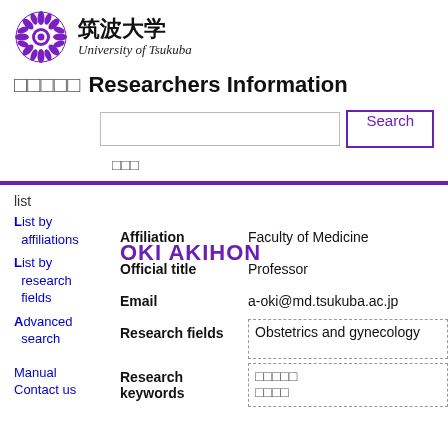[Figure (logo): University of Tsukuba logo with purple chrysanthemum crest]
□□□□□ Researchers Information
[Search input box] Search
□□□
OKI AKIHON
list
List by affiliations
List by research fields
Advanced search
Manual
Contact us
| Field | Value |
| --- | --- |
| Affiliation | Faculty of Medicine |
| Official title | Professor |
| Email | a-oki@md.tsukuba.ac.jp |
| Research fields | Obstetrics and gynecology |
| Research keywords | □□□□□
□□□□ |